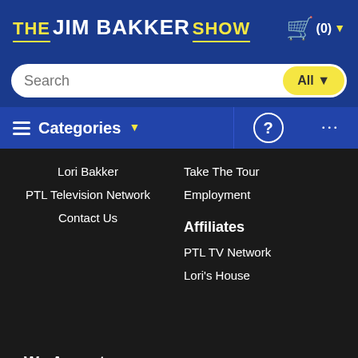THE JIM BAKKER SHOW (0)
Search | All
≡ Categories ▼   ?   ...
Lori Bakker
PTL Television Network
Contact Us
Take The Tour
Employment
Affiliates
PTL TV Network
Lori's House
We Accept
[Figure (other): Payment method icons: Mastercard, Visa, American Express, Discover]